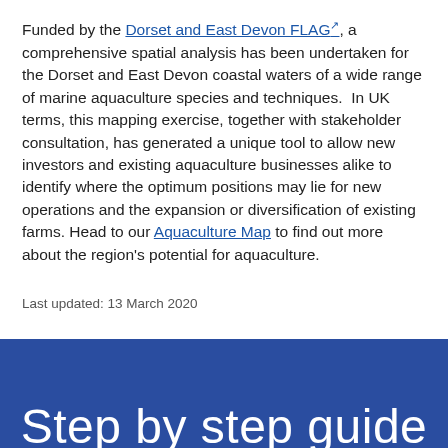Funded by the Dorset and East Devon FLAG [external link], a comprehensive spatial analysis has been undertaken for the Dorset and East Devon coastal waters of a wide range of marine aquaculture species and techniques.  In UK terms, this mapping exercise, together with stakeholder consultation, has generated a unique tool to allow new investors and existing aquaculture businesses alike to identify where the optimum positions may lie for new operations and the expansion or diversification of existing farms. Head to our Aquaculture Map to find out more about the region's potential for aquaculture.
Last updated: 13 March 2020
Step by step guide